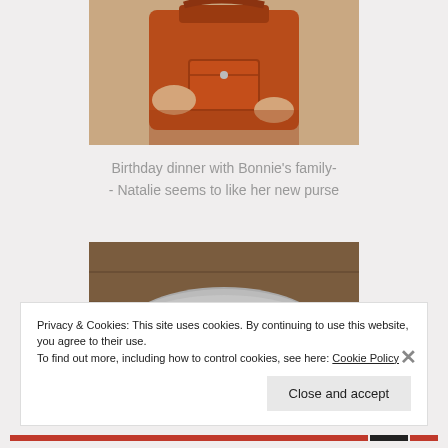[Figure (photo): Close-up of a person holding an orange/rust-colored leather handbag]
Birthday dinner with Bonnie's family- - Natalie seems to like her new purse
[Figure (photo): Orange/red round candies or tomatoes in a grey bowl on a wooden surface]
Privacy & Cookies: This site uses cookies. By continuing to use this website, you agree to their use.
To find out more, including how to control cookies, see here: Cookie Policy
Close and accept